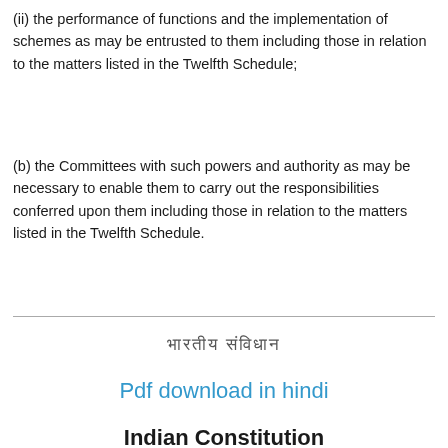(ii) the performance of functions and the implementation of schemes as may be entrusted to them including those in relation to the matters listed in the Twelfth Schedule;
(b) the Committees with such powers and authority as may be necessary to enable them to carry out the responsibilities conferred upon them including those in relation to the matters listed in the Twelfth Schedule.
भारतीय संविधान
Pdf download in hindi
Indian Constitution